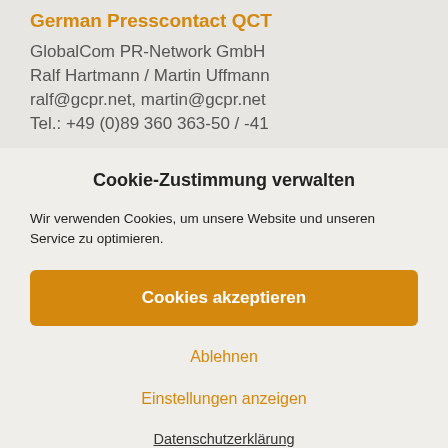German Presscontact QCT
GlobalCom PR-Network GmbH
Ralf Hartmann / Martin Uffmann
ralf@gcpr.net, martin@gcpr.net
Tel.: +49 (0)89 360 363-50 / -41
Cookie-Zustimmung verwalten
Wir verwenden Cookies, um unsere Website und unseren Service zu optimieren.
Cookies akzeptieren
Ablehnen
Einstellungen anzeigen
Datenschutzerklärung